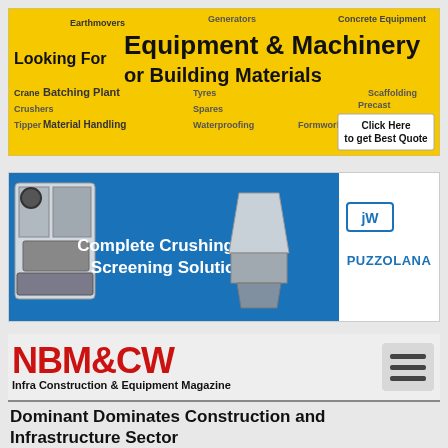[Figure (infographic): Yellow banner advertisement for Equipment & Machinery or Building Materials with text items: Earthmovers, Concrete Equipment, Looking For, Generators, Cranes, Batching Plant, Crushers, Tipper, Material Handling, Tyres, Spare, Waterproofing, Formwork, Furniture, Scaffolding, Precast, Click Here to get Best Quote]
[Figure (infographic): Blue and white banner for Puzzolana showing crusher machinery images and text: Complete Crushing and Screening Solutions, PUZZOLANA logo]
[Figure (logo): NBM&CW Infra Construction & Equipment Magazine logo in red with hamburger menu icon]
Dominant Dominates Construction and Infrastructure Sector
Dominant Business Group has been providing quality construction equipments and unmatched after sales services to its customers since its establishment way back in 1988. Over a period of time, it has carved out a